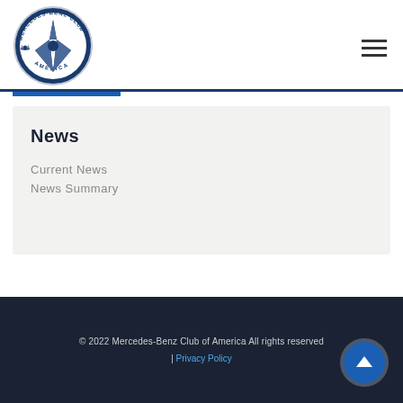[Figure (logo): Mercedes-Benz Club of America circular logo with star emblem]
News
Current News
News Summary
© 2022 Mercedes-Benz Club of America All rights reserved | Privacy Policy